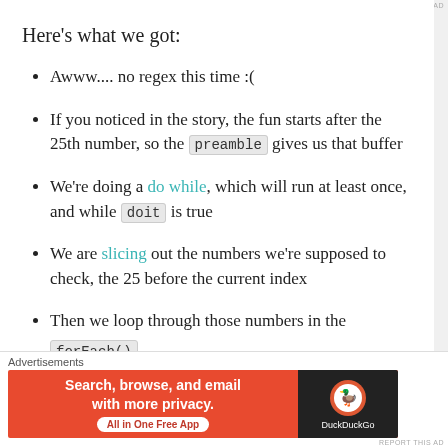REPORT THIS AD
Here's what we got:
Awww.... no regex this time :(
If you noticed in the story, the fun starts after the 25th number, so the preamble gives us that buffer
We're doing a do while, which will run at least once, and while doit is true
We are slicing out the numbers we're supposed to check, the 25 before the current index
Then we loop through those numbers in the forEach()
Advertisements
[Figure (other): DuckDuckGo advertisement banner: Search, browse, and email with more privacy. All in One Free App. DuckDuckGo logo on dark background.]